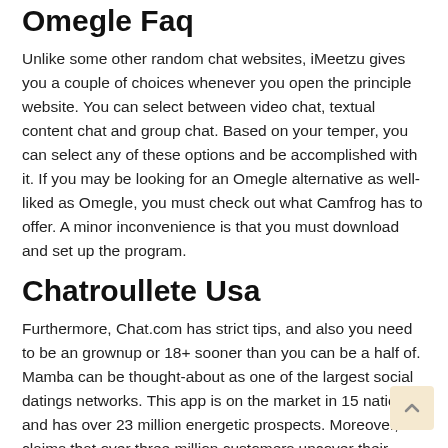Omegle Faq
Unlike some other random chat websites, iMeetzu gives you a couple of choices whenever you open the principle website. You can select between video chat, textual content chat and group chat. Based on your temper, you can select any of these options and be accomplished with it. If you may be looking for an Omegle alternative as well-liked as Omegle, you must check out what Camfrog has to offer. A minor inconvenience is that you must download and set up the program.
Chatroullete Usa
Furthermore, Chat.com has strict tips, and also you need to be an grownup or 18+ sooner than you can be a half of. Mamba can be thought-about as one of the largest social datings networks. This app is on the market in 15 nations and has over 23 million energetic prospects. Moreover, it claims that over three million customers uncover their companions every day.